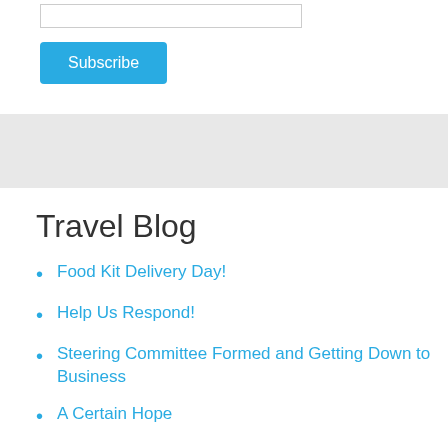[Figure (other): Subscribe input field (text input box)]
[Figure (other): Subscribe button — blue rounded rectangle with white text 'Subscribe']
Travel Blog
Food Kit Delivery Day!
Help Us Respond!
Steering Committee Formed and Getting Down to Business
A Certain Hope
Shared Bread. Shared Joy. Shared Faith.